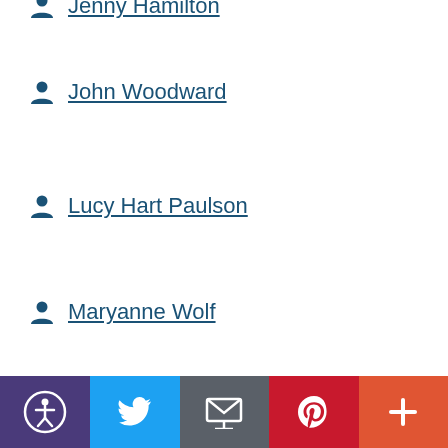Jenny Hamilton
John Woodward
Lucy Hart Paulson
Maryanne Wolf
YEAR
2014
2016
2017
2018
2019
2020
2021
2022
Accessibility | Twitter | Email | Pinterest | More